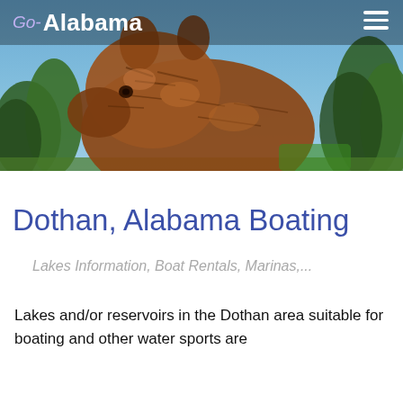[Figure (photo): A large metal sculpture of an animal (possibly a pig or boar) made of riveted/layered rust-colored metal plates, photographed against a blue sky with trees in the background. A navigation bar overlays the top with 'Go- Alabama' logo and hamburger menu icon.]
Go- Alabama
Dothan, Alabama Boating
Lakes Information, Boat Rentals, Marinas,...
Lakes and/or reservoirs in the Dothan area suitable for boating and other water sports are